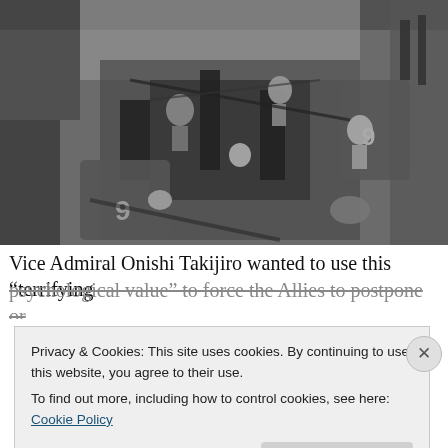[Figure (photo): Black and white historical photograph showing military personnel operating anti-aircraft gun equipment, likely on a naval vessel. Multiple crew members in helmets are visible around complex gun machinery. The number '9' is visible on equipment in the foreground and background.]
Vice Admiral Onishi Takijiro wanted to use this “terrifying psychological value” to force the Allies to postpone or
Privacy & Cookies: This site uses cookies. By continuing to use this website, you agree to their use.
To find out more, including how to control cookies, see here: Cookie Policy
Close and accept